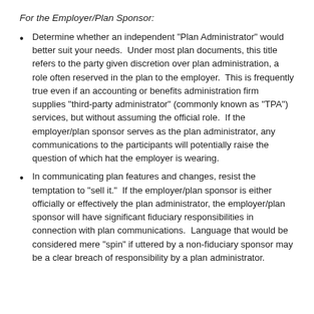For the Employer/Plan Sponsor:
Determine whether an independent "Plan Administrator" would better suit your needs.  Under most plan documents, this title refers to the party given discretion over plan administration, a role often reserved in the plan to the employer.  This is frequently true even if an accounting or benefits administration firm supplies "third-party administrator" (commonly known as "TPA") services, but without assuming the official role.  If the employer/plan sponsor serves as the plan administrator, any communications to the participants will potentially raise the question of which hat the employer is wearing.
In communicating plan features and changes, resist the temptation to "sell it."  If the employer/plan sponsor is either officially or effectively the plan administrator, the employer/plan sponsor will have significant fiduciary responsibilities in connection with plan communications.  Language that would be considered mere "spin" if uttered by a non-fiduciary sponsor may be a clear breach of responsibility by a plan administrator.